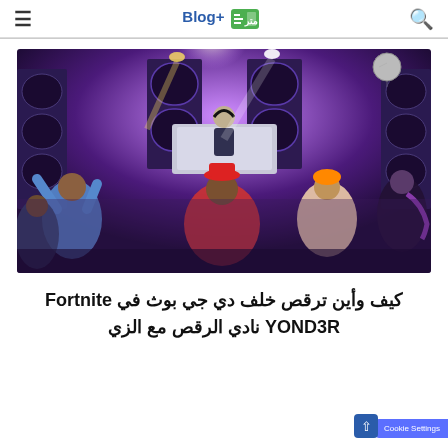Blog+ [logo icon]
[Figure (screenshot): Fortnite DJ Booth YOND3R concert scene with animated characters dancing in front of large speakers and stage lights in a purple-lit venue]
كيف وأين ترقص خلف دي جي بوث في Fortnite YOND3R نادي الرقص مع الزي